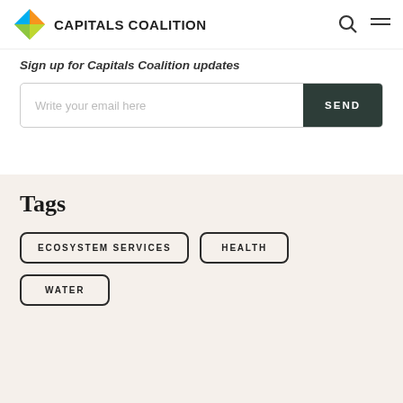CAPITALS COALITION
Sign up for Capitals Coalition updates
Write your email here
Tags
ECOSYSTEM SERVICES
HEALTH
WATER